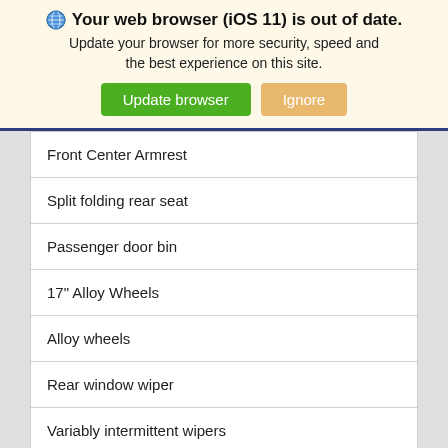🌐 Your web browser (iOS 11) is out of date. Update your browser for more security, speed and the best experience on this site.
Update browser | Ignore
Front Center Armrest
Split folding rear seat
Passenger door bin
17" Alloy Wheels
Alloy wheels
Rear window wiper
Variably intermittent wipers